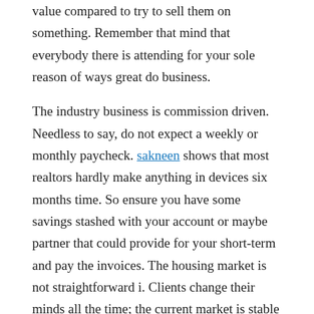value compared to try to sell them on something. Remember that mind that everybody there is attending for your sole reason of ways great do business.
The industry business is commission driven. Needless to say, do not expect a weekly or monthly paycheck. sakneen shows that most realtors hardly make anything in devices six months time. So ensure you have some savings stashed with your account or maybe partner that could provide for your short-term and pay the invoices. The housing market is not straightforward i. Clients change their minds all the time; the current market is stable today and crazy later today. Furthermore, it simply might just take more than 10-15 days to receive your commissions even when you have closed a sale.
A good mentor so that you can gain practical experience much quicker and with less difficulty compared to books and courses. Mentors help you navigate deals and overcome any show stopping challenges that you may face. Mentors are one of your best investments.